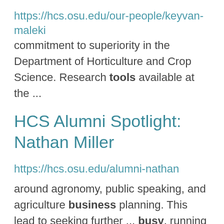https://hcs.osu.edu/our-people/keyvan-maleki commitment to superiority in the Department of Horticulture and Crop Science. Research tools available at the ...
HCS Alumni Spotlight: Nathan Miller
https://hcs.osu.edu/alumni-nathan
around agronomy, public speaking, and agriculture business planning. This lead to seeking further ... busy, running in different directions just to get the job done. I really enjoy being outside and working ... asset down the road. In the agriculture business, who you know is just as